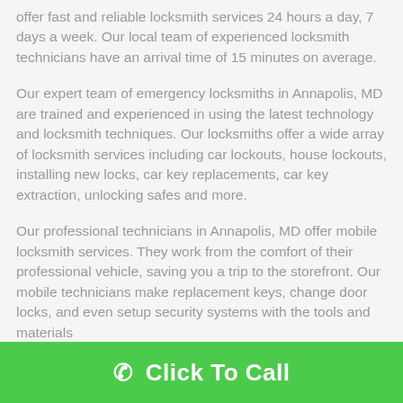offer fast and reliable locksmith services 24 hours a day, 7 days a week. Our local team of experienced locksmith technicians have an arrival time of 15 minutes on average.
Our expert team of emergency locksmiths in Annapolis, MD are trained and experienced in using the latest technology and locksmith techniques. Our locksmiths offer a wide array of locksmith services including car lockouts, house lockouts, installing new locks, car key replacements, car key extraction, unlocking safes and more.
Our professional technicians in Annapolis, MD offer mobile locksmith services. They work from the comfort of their professional vehicle, saving you a trip to the storefront. Our mobile technicians make replacement keys, change door locks, and even setup security systems with the tools and materials
✆ Click To Call